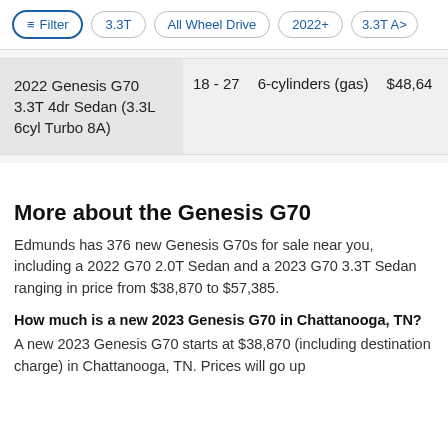Filter  3.3T  All Wheel Drive  2022+  3.3T A>
| Model | MPG | Engine | Price |
| --- | --- | --- | --- |
| 2022 Genesis G70 3.3T 4dr Sedan (3.3L 6cyl Turbo 8A) | 18 - 27 | 6-cylinders (gas) | $48,64... |
More about the Genesis G70
Edmunds has 376 new Genesis G70s for sale near you, including a 2022 G70 2.0T Sedan and a 2023 G70 3.3T Sedan ranging in price from $38,870 to $57,385.
How much is a new 2023 Genesis G70 in Chattanooga, TN?
A new 2023 Genesis G70 starts at $38,870 (including destination charge) in Chattanooga, TN. Prices will go up